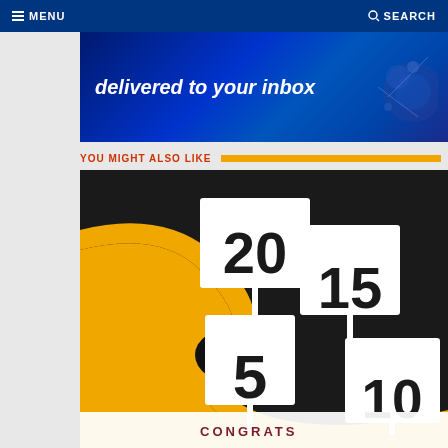MENU  SEARCH
[Figure (illustration): Blue banner ad with text 'delivered to your inbox' and decorative circuit/tech imagery on the right]
YOU MIGHT ALSO LIKE
[Figure (illustration): Illustration with a winding yellow/orange path on black background with road signs showing numbers 20, 15, 5, and 10, with a white band at bottom showing 'CONGRATS']
CONGRATS